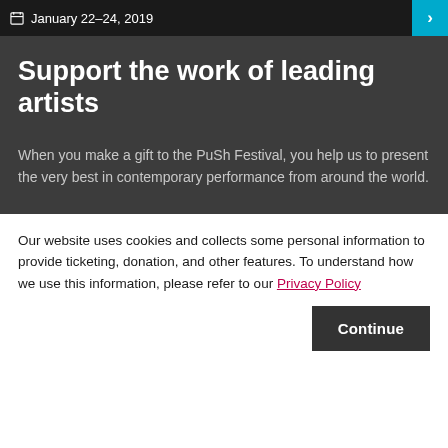January 22–24, 2019
Support the work of leading artists
When you make a gift to the PuSh Festival, you help us to present the very best in contemporary performance from around the world.
Our website uses cookies and collects some personal information to provide ticketing, donation, and other features. To understand how we use this information, please refer to our Privacy Policy
Continue